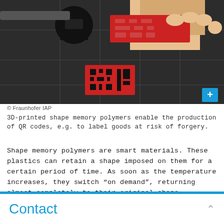[Figure (photo): A hand peeling a red 3D-printed QR code label from a printer bed with a black print head visible on the left.]
© Fraunhofer IAP
3D-printed shape memory polymers enable the production of QR codes, e.g. to label goods at risk of forgery.
Shape memory polymers are smart materials. These plastics can retain a shape imposed on them for a certain period of time. As soon as the temperature increases, they switch “on demand”, returning almost completely to their original shape.  Certificates of authenticity that provide product-related information are one possible application for shape memory polymers. These include QR codes developed by the Fraunhofer IAP using additive manufacturing. Once printed, the shape changes so that the QR code can no longer be read. The original shape
Contact